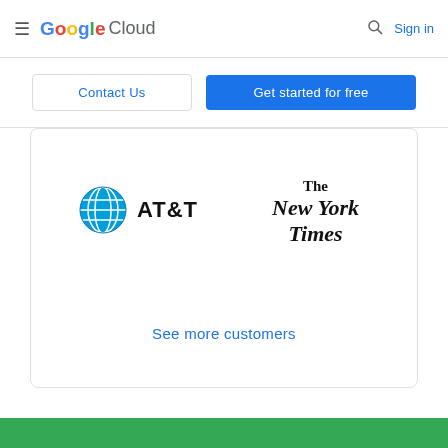Google Cloud — Sign in
Contact Us
Get started for free
[Figure (logo): AT&T logo with blue globe icon and AT&T text]
[Figure (logo): The New York Times logo in blackletter serif font]
See more customers